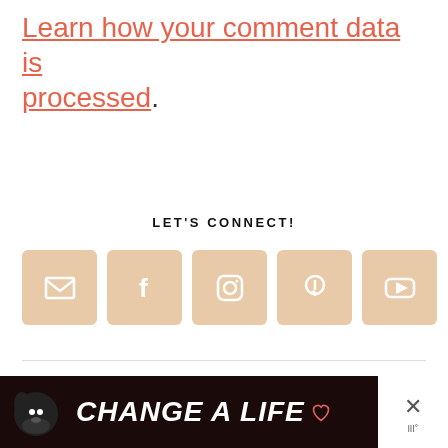Learn how your comment data is processed.
LET'S CONNECT!
[Figure (infographic): Row of 5 social media icon buttons (email, Facebook, Instagram, Pinterest, YouTube) with beige/tan rounded square backgrounds and white icons]
USE THE CODE POLISH15 FOR A 15% DISCOUNT!
[Figure (logo): Circular logo with text MADE IN CHICA... (Chicago)]
[Figure (infographic): Advertisement bar at bottom: black background with dog photo and CHANGE A LIFE text in white bold italic, with heart icon. Right side has white panel with X close button and logo marks.]